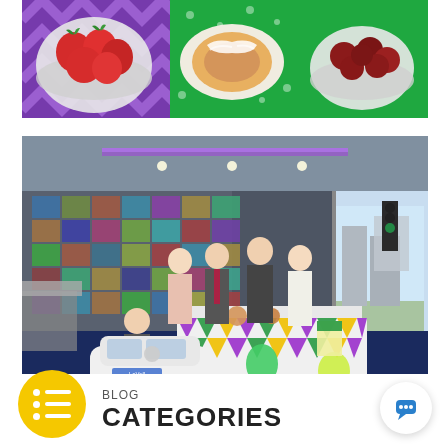[Figure (photo): Top banner photo collage showing food items: strawberries in a bowl on a purple chevron background on the left, a glazed pastry/donut on a green background in the center, and dark cherries/berries in a bowl on the right.]
[Figure (photo): Interior office/showroom photo with five people (four standing, one seated in a toy white Mercedes car). The room has a photo collage wall, a table with a colorful geometric tablecloth decorated with pastries and balloons. A street scene is visible through large windows. The setting appears to be a real estate or business office celebration.]
BLOG
CATEGORIES